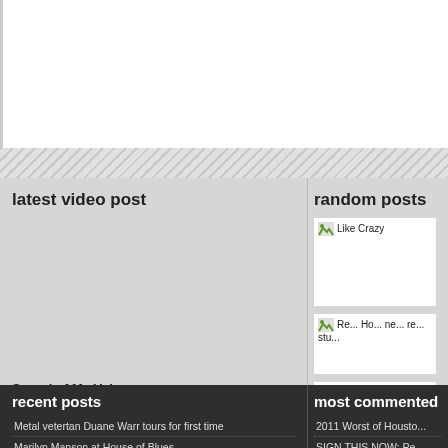latest video post
Sound of My Voice
random posts
[Figure (photo): Like Crazy - broken image placeholder]
Re... Ho... ne... re... stu...
[Figure (photo): Harry Potter and the Deathly Hallows Part 1 - broken image placeholder]
recent posts
Metal vetertan Duane Warr tours for first time
Marilyn Manson at House of Blues
most commented
2011 Worst of Housto...
SIGN THIS NOW: Pe... Ordinance